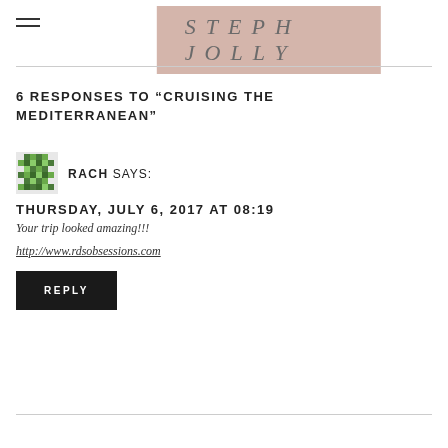STEPH JOLLY
6 RESPONSES TO “CRUISING THE MEDITERRANEAN”
[Figure (illustration): Green pixel/mosaic avatar icon for commenter Rach]
RACH SAYS:
THURSDAY, JULY 6, 2017 AT 08:19
Your trip looked amazing!!!
http://www.rdsobsessions.com
REPLY